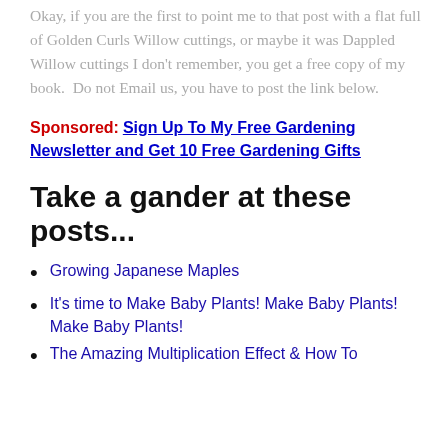Okay, if you are the first to point me to that post with a flat full of Golden Curls Willow cuttings, or maybe it was Dappled Willow cuttings I don't remember, you get a free copy of my book.  Do not Email us, you have to post the link below.
Sponsored: Sign Up To My Free Gardening Newsletter and Get 10 Free Gardening Gifts
Take a gander at these posts...
Growing Japanese Maples
It's time to Make Baby Plants! Make Baby Plants! Make Baby Plants!
The Amazing Multiplication Effect & How To